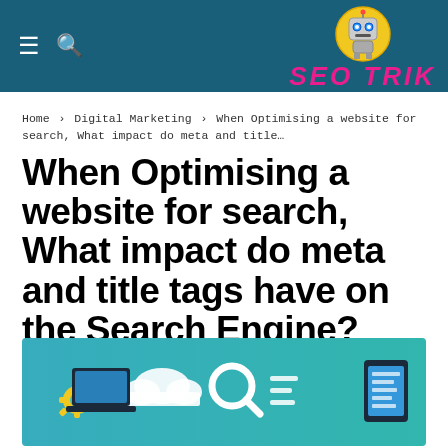SEO TRIK
Home › Digital Marketing › When Optimising a website for search, What impact do meta and title…
When Optimising a website for search, What impact do meta and title tags have on the Search Engine?
[Figure (illustration): Colorful digital marketing / SEO concept illustration with a teal background, showing cloud, magnifying glass, gear icons, a laptop, and tablet device]